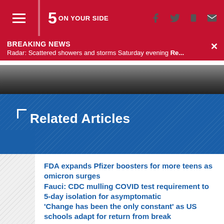5 ON YOUR SIDE
BREAKING NEWS
Radar: Scattered showers and storms Saturday evening Re...
[Figure (photo): Dark photo strip, likely a road or sky scene]
Related Articles
FDA expands Pfizer boosters for more teens as omicron surges
Fauci: CDC mulling COVID test requirement to 5-day isolation for asymptomatic
'Change has been the only constant' as US schools adapt for return from break